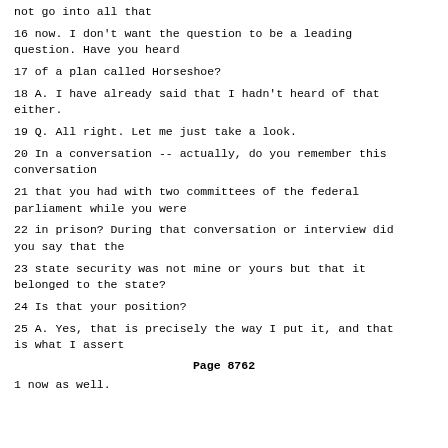not go into all that
16 now. I don't want the question to be a leading question. Have you heard
17 of a plan called Horseshoe?
18 A. I have already said that I hadn't heard of that either.
19 Q. All right. Let me just take a look.
20 In a conversation -- actually, do you remember this conversation
21 that you had with two committees of the federal parliament while you were
22 in prison? During that conversation or interview did you say that the
23 state security was not mine or yours but that it belonged to the state?
24 Is that your position?
25 A. Yes, that is precisely the way I put it, and that is what I assert
Page 8762
1 now as well.